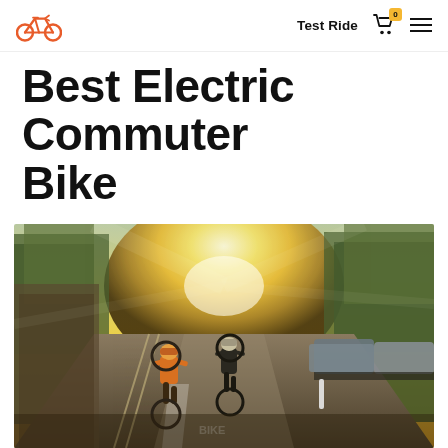Test Ride [cart icon] [menu icon]
Best Electric Commuter Bike
[Figure (photo): Two cyclists wearing helmets riding bikes in a dedicated bike lane on a tree-lined urban street, with sunlight glaring from ahead, parked cars on the right, and city buildings visible in the background.]